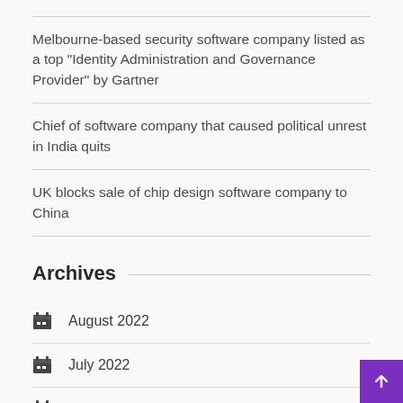Melbourne-based security software company listed as a top “Identity Administration and Governance Provider” by Gartner
Chief of software company that caused political unrest in India quits
UK blocks sale of chip design software company to China
Archives
August 2022
July 2022
June 2022
May 2022
April 2022
March 2022